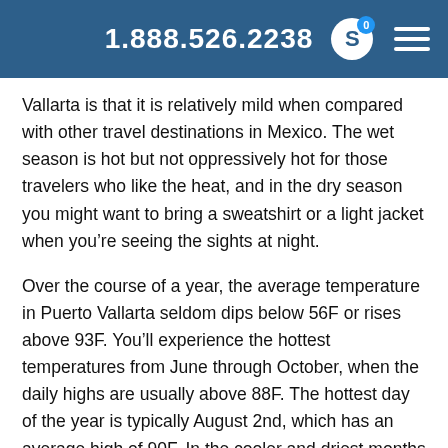1.888.526.2238
Vallarta is that it is relatively mild when compared with other travel destinations in Mexico. The wet season is hot but not oppressively hot for those travelers who like the heat, and in the dry season you might want to bring a sweatshirt or a light jacket when you’re seeing the sights at night.
Over the course of a year, the average temperature in Puerto Vallarta seldom dips below 56F or rises above 93F. You’ll experience the hottest temperatures from June through October, when the daily highs are usually above 88F. The hottest day of the year is typically August 2nd, which has an average high of 90F. In the cooler and driest months between December and April, the high